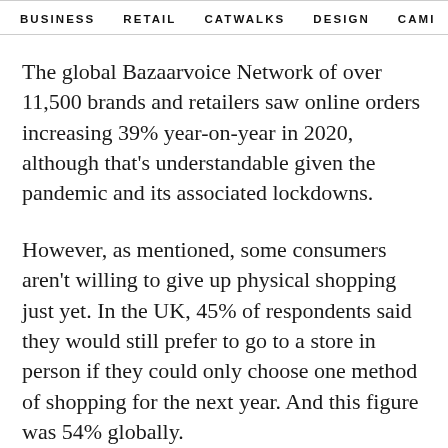BUSINESS   RETAIL   CATWALKS   DESIGN   CAMI >
The global Bazaarvoice Network of over 11,500 brands and retailers saw online orders increasing 39% year-on-year in 2020, although that's understandable given the pandemic and its associated lockdowns.
However, as mentioned, some consumers aren't willing to give up physical shopping just yet. In the UK, 45% of respondents said they would still prefer to go to a store in person if they could only choose one method of shopping for the next year. And this figure was 54% globally.
But there are so many other channels battling for their attention these days, especial social media. Overall, 23%